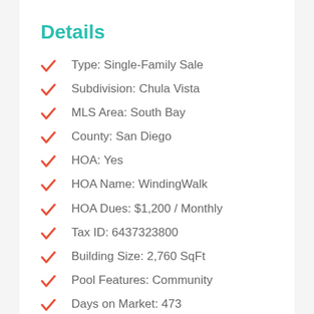Details
Type: Single-Family Sale
Subdivision: Chula Vista
MLS Area: South Bay
County: San Diego
HOA: Yes
HOA Name: WindingWalk
HOA Dues: $1,200 / Monthly
Tax ID: 6437323800
Building Size: 2,760 SqFt
Pool Features: Community
Days on Market: 473